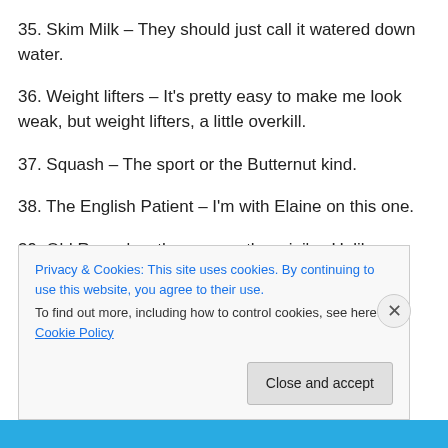35. Skim Milk – They should just call it watered down water.
36. Weight lifters – It's pretty easy to make me look weak, but weight lifters, a little overkill.
37. Squash – The sport or the Butternut kind.
38. The English Patient – I'm with Elaine on this one.
39. Old Reese's – the cups or the mini's.  Unlike cheese
Privacy & Cookies: This site uses cookies. By continuing to use this website, you agree to their use.
To find out more, including how to control cookies, see here: Cookie Policy